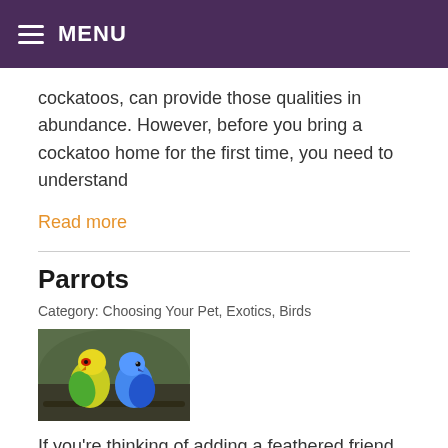≡ MENU
cockatoos, can provide those qualities in abundance. However, before you bring a cockatoo home for the first time, you need to understand
Read more
Parrots
Category: Choosing Your Pet, Exotics, Birds
[Figure (photo): Two parrots perched together — one yellow-green and one blue — against a blurred background]
If you're thinking of adding a feathered friend to your family, you might be wondering what the best